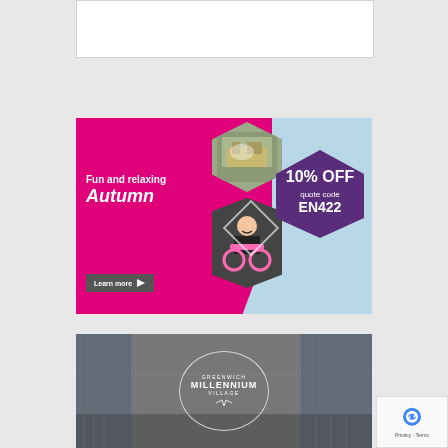[Figure (other): White rectangular box at top of page, appears to be an empty ad placeholder]
[Figure (infographic): Revitalise advertisement with magenta background on left side showing 'Fun and relaxing Autumn' text, hexagonal photos of a building and a person in a wheelchair, purple hexagon overlay with '10% OFF quote code EN422', and 'Learn more' button on light blue background. Revitalise logo in cursive pink text at top left.]
[Figure (photo): Greenwich Millennium Village advertisement showing a modern apartment interior in greyscale with circular logo overlay reading 'GREENWICH MILLENNIUM VILLAGE']
[Figure (other): reCAPTCHA badge in bottom right corner showing Google reCAPTCHA logo with 'Privacy - Terms' text]